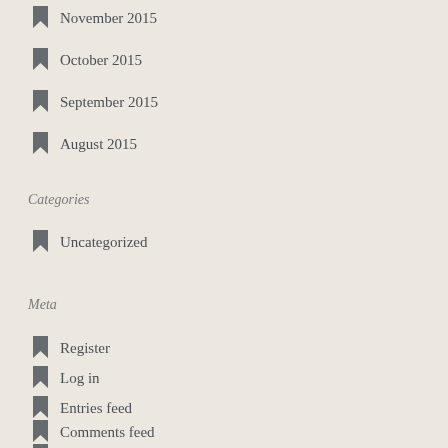November 2015
October 2015
September 2015
August 2015
Categories
Uncategorized
Meta
Register
Log in
Entries feed
Comments feed
WordPress.com